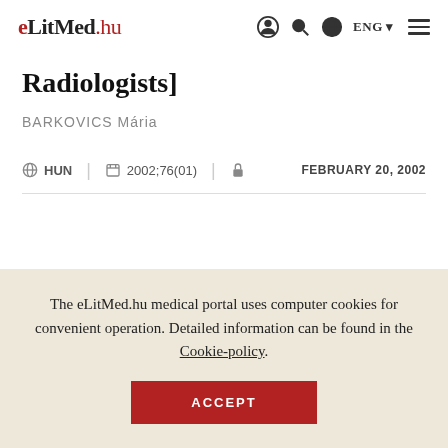eLitMed.hu — ENG navigation bar
Radiologists]
BARKOVICS Mária
HUN | 2002;76(01) | [lock icon] FEBRUARY 20, 2002
The eLitMed.hu medical portal uses computer cookies for convenient operation. Detailed information can be found in the Cookie-policy.
ACCEPT